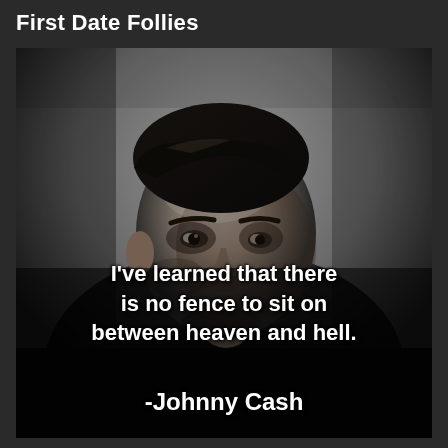First Date Follies
[Figure (photo): Black and white photograph of Johnny Cash leaning forward, looking downward with a serious, contemplative expression. He has dark slicked-back hair and is wearing a dark top. The background is light gray.]
I've learned that there is no fence to sit on between heaven and hell.
-Johnny Cash